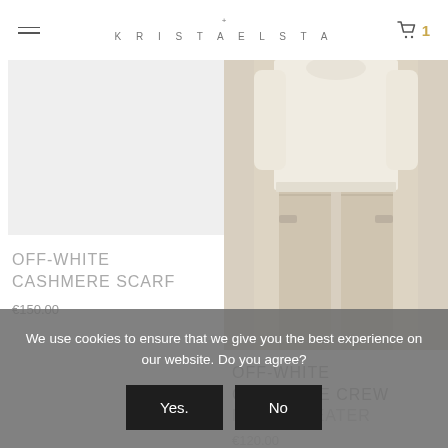KRISTAELSTA
[Figure (photo): Light grey placeholder rectangle for off-white cashmere scarf product image]
OFF-WHITE CASHMERE SCARF
€150.00
[Figure (photo): Photo of a woman wearing a cream/off-white cashmere crew neck sweater and beige wide-leg trousers with hands in pockets]
OFF-WHITE CASHMERE CREW NECK SWEATER
€120.00
We use cookies to ensure that we give you the best experience on our website. Do you agree?